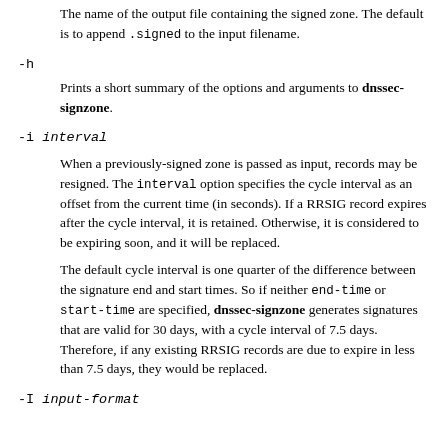The name of the output file containing the signed zone. The default is to append .signed to the input filename.
-h
Prints a short summary of the options and arguments to dnssec-signzone.
-i interval
When a previously-signed zone is passed as input, records may be resigned. The interval option specifies the cycle interval as an offset from the current time (in seconds). If a RRSIG record expires after the cycle interval, it is retained. Otherwise, it is considered to be expiring soon, and it will be replaced.
The default cycle interval is one quarter of the difference between the signature end and start times. So if neither end-time or start-time are specified, dnssec-signzone generates signatures that are valid for 30 days, with a cycle interval of 7.5 days. Therefore, if any existing RRSIG records are due to expire in less than 7.5 days, they would be replaced.
-I input-format